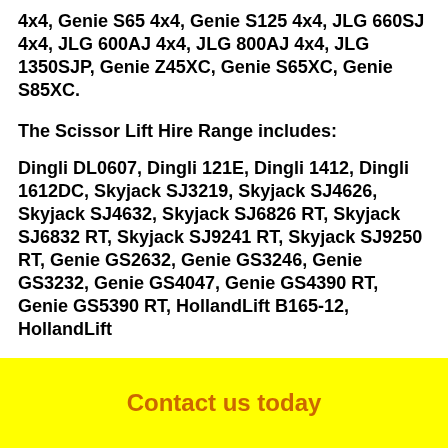4x4, Genie S65 4x4, Genie S125 4x4, JLG 660SJ 4x4, JLG 600AJ 4x4, JLG 800AJ 4x4, JLG 1350SJP, Genie Z45XC, Genie S65XC, Genie S85XC.
The Scissor Lift Hire Range includes:
Dingli DL0607, Dingli 121E, Dingli 1412, Dingli 1612DC, Skyjack SJ3219, Skyjack SJ4626, Skyjack SJ4632, Skyjack SJ6826 RT, Skyjack SJ6832 RT, Skyjack SJ9241 RT, Skyjack SJ9250 RT, Genie GS2632, Genie GS3246, Genie GS3232, Genie GS4047, Genie GS4390 RT, Genie GS5390 RT, HollandLift B165-12, HollandLift
Contact us today